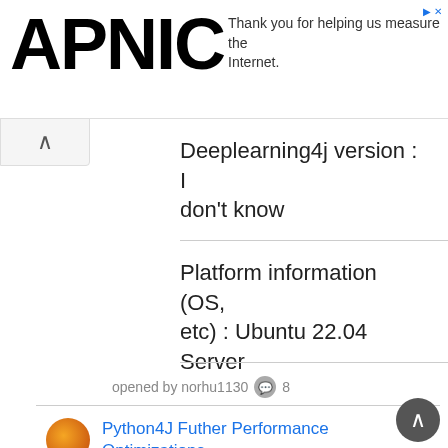APNIC — Thank you for helping us measure the Internet.
Deeplearning4j version : I don't know
Platform information (OS, etc) : Ubuntu 22.04 Server
opened by norhu1130 💬 8
Python4J Futher Performance Optimizations
Follow up ticket for review